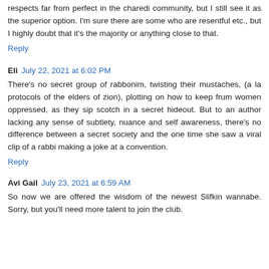respects far from perfect in the charedi community, but I still see it as the superior option. I'm sure there are some who are resentful etc., but I highly doubt that it's the majority or anything close to that.
Reply
Eli  July 22, 2021 at 6:02 PM
There's no secret group of rabbonim, twisting their mustaches, (a la protocols of the elders of zion), plotting on how to keep frum women oppressed, as they sip scotch in a secret hideout. But to an author lacking any sense of subtlety, nuance and self awareness, there's no difference between a secret society and the one time she saw a viral clip of a rabbi making a joke at a convention.
Reply
Avi Gail  July 23, 2021 at 6:59 AM
So now we are offered the wisdom of the newest Slifkin wannabe. Sorry, but you'll need more talent to join the club.